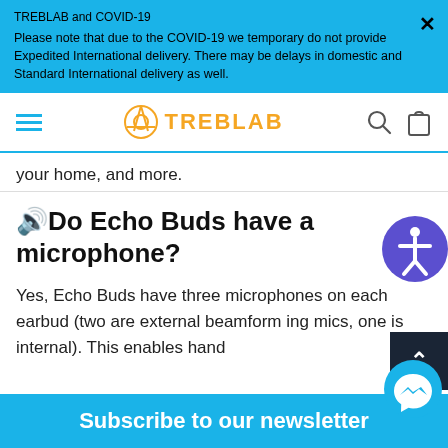TREBLAB and COVID-19
Please note that due to the COVID-19 we temporary do not provide Expedited International delivery. There may be delays in domestic and Standard International delivery as well.
[Figure (logo): TREBLAB logo with hamburger menu, search and bag icons in navigation bar]
your home, and more.
🔊Do Echo Buds have a microphone?
Yes, Echo Buds have three microphones on each earbud (two are external beamforming mics, one is internal). This enables hand-free...
Subscribe to our newsletter